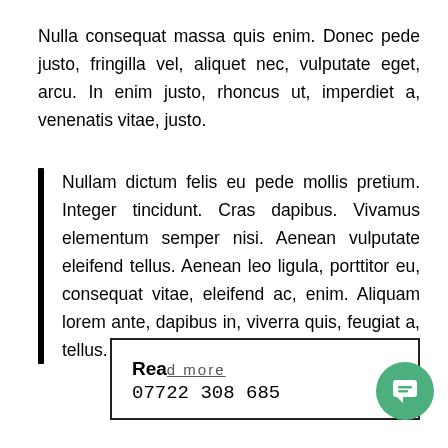Nulla consequat massa quis enim. Donec pede justo, fringilla vel, aliquet nec, vulputate eget, arcu. In enim justo, rhoncus ut, imperdiet a, venenatis vitae, justo.
Nullam dictum felis eu pede mollis pretium. Integer tincidunt. Cras dapibus. Vivamus elementum semper nisi. Aenean vulputate eleifend tellus. Aenean leo ligula, porttitor eu, consequat vitae, eleifend ac, enim. Aliquam lorem ante, dapibus in, viverra quis, feugiat a, tellus.
Read more 07722 308 685